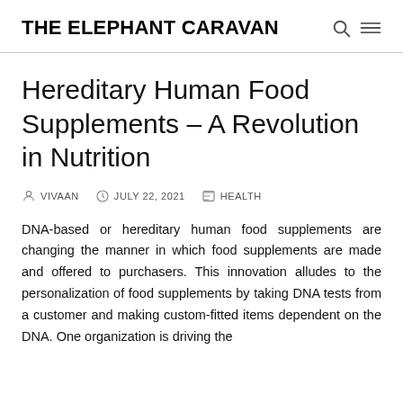THE ELEPHANT CARAVAN
Hereditary Human Food Supplements – A Revolution in Nutrition
VIVAAN   JULY 22, 2021   HEALTH
DNA-based or hereditary human food supplements are changing the manner in which food supplements are made and offered to purchasers. This innovation alludes to the personalization of food supplements by taking DNA tests from a customer and making custom-fitted items dependent on the DNA. One organization is driving the